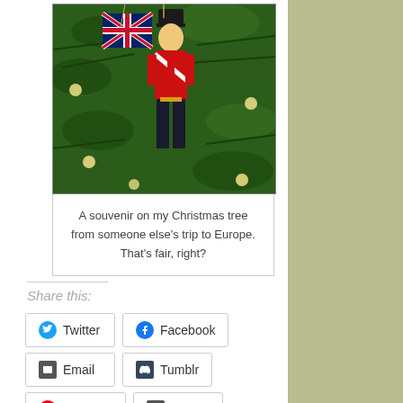[Figure (photo): A British royal guard ornament wearing red uniform and holding a Union Jack flag, hanging on a green Christmas tree with lights]
A souvenir on my Christmas tree from someone else's trip to Europe. That's fair, right?
Share this:
Twitter
Facebook
Email
Tumblr
Pinterest
Print